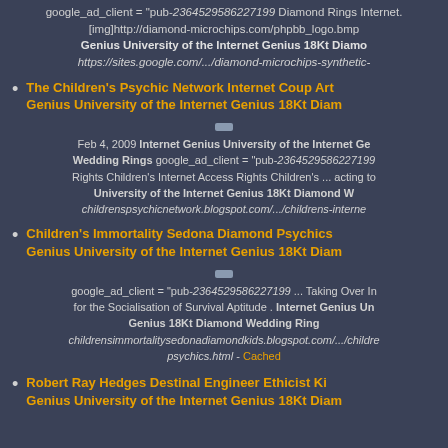google_ad_client = "pub-2364529586227199 Diamond Rings Internet. [img]http://diamond-microchips.com/phpbb_logo.bmp Genius University of the Internet Genius 18Kt Diamond https://sites.google.com/.../diamond-microchips-synthetic-
The Children's Psychic Network Internet Coup Art Genius University of the Internet Genius 18Kt Diam
Feb 4, 2009 Internet Genius University of the Internet Ge Wedding Rings google_ad_client = "pub-2364529586227199 Rights Children's Internet Access Rights Children's ... acting to University of the Internet Genius 18Kt Diamond W childrenspsychicnetwork.blogspot.com/.../childrens-interne
Children's Immortality Sedona Diamond Psychics Genius University of the Internet Genius 18Kt Diam
google_ad_client = "pub-2364529586227199 ... Taking Over In for the Socialisation of Survival Aptitude . Internet Genius Un Genius 18Kt Diamond Wedding Ring childrensimmortalitysedonadiamondkids.blogspot.com/.../childre psychics.html - Cached
Robert Ray Hedges Destinal Engineer Ethicist Ki Genius University of the Internet Genius 18Kt Diam